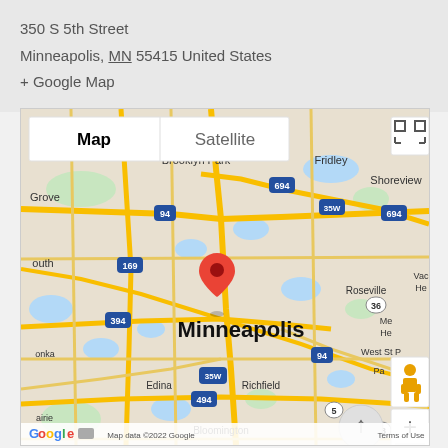350 S 5th Street
Minneapolis, MN 55415 United States
+ Google Map
[Figure (map): Google Map showing Minneapolis, MN area with a red location pin at 350 S 5th Street. Map shows surrounding suburbs including Brooklyn Park, Fridley, Shoreview, Roseville, Edina, Richfield, Bloomington. Highways 94, 169, 35W, 394, 694, 494 visible. Map/Satellite toggle and zoom controls shown.]